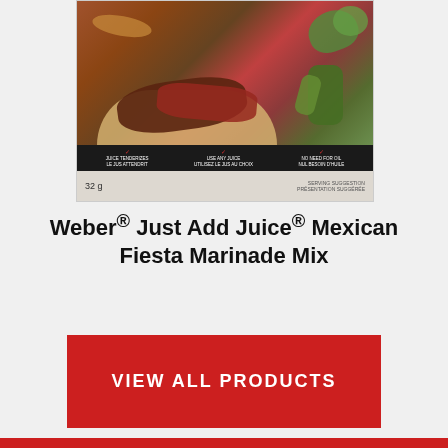[Figure (photo): Product photo of Weber Just Add Juice Mexican Fiesta Marinade Mix package (32g), showing grilled meat and vegetables on a tortilla, with a dark strip at bottom listing: JUICE TENDERIZES / LE JUS ATTENDRIT, USE ANY JUICE / UTILISEZ LE JUS AU CHOIX, NO NEED FOR OIL / NUL BESOIN D'HUILE. Bottom shows 32g weight and SERVING SUGGESTION / PRÉSENTATION SUGGÉRÉE.]
Weber® Just Add Juice® Mexican Fiesta Marinade Mix
VIEW ALL PRODUCTS